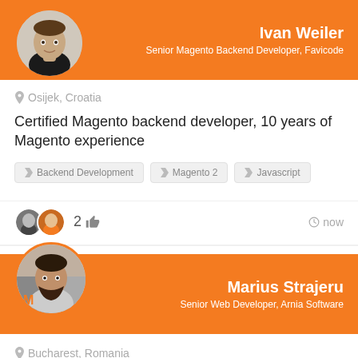[Figure (photo): Profile photo of Ivan Weiler, circular crop, man in dark shirt]
Ivan Weiler
Senior Magento Backend Developer, Favicode
Osijek, Croatia
Certified Magento backend developer, 10 years of Magento experience
Backend Development
Magento 2
Javascript
2 👍 now
[Figure (photo): Profile photo of Marius Strajeru, circular crop, man, with Magento logo visible]
Marius Strajeru
Senior Web Developer, Arnia Software
Bucharest, Romania